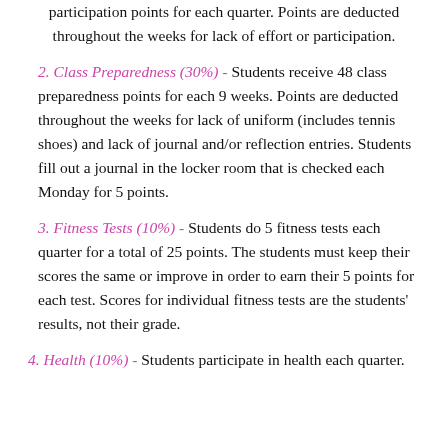participation points for each quarter. Points are deducted throughout the weeks for lack of effort or participation.
2. Class Preparedness (30%) - Students receive 48 class preparedness points for each 9 weeks. Points are deducted throughout the weeks for lack of uniform (includes tennis shoes) and lack of journal and/or reflection entries. Students fill out a journal in the locker room that is checked each Monday for 5 points.
3. Fitness Tests (10%) - Students do 5 fitness tests each quarter for a total of 25 points. The students must keep their scores the same or improve in order to earn their 5 points for each test. Scores for individual fitness tests are the students' results, not their grade.
4. Health (10%) - Students participate in health each quarter. Points are awarded in Health each quarter.